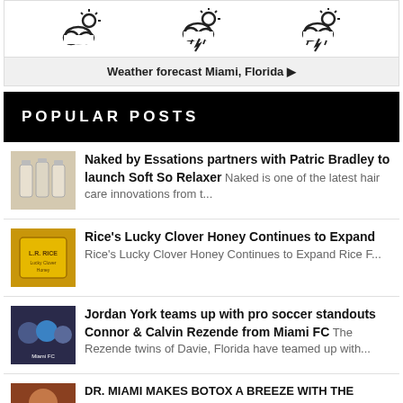[Figure (illustration): Weather icons: partly cloudy, thunderstorm with rain, thunderstorm with sun]
Weather forecast Miami, Florida ▶
POPULAR POSTS
Naked by Essations partners with Patric Bradley to launch Soft So Relaxer Naked is one of the latest hair care innovations from t...
Rice's Lucky Clover Honey Continues to Expand Rice's Lucky Clover Honey Continues to Expand Rice F...
Jordan York teams up with pro soccer standouts Connor & Calvin Rezende from Miami FC The Rezende twins of Davie, Florida have teamed up with...
DR. MIAMI MAKES BOTOX A BREEZE WITH THE GOFOX APP